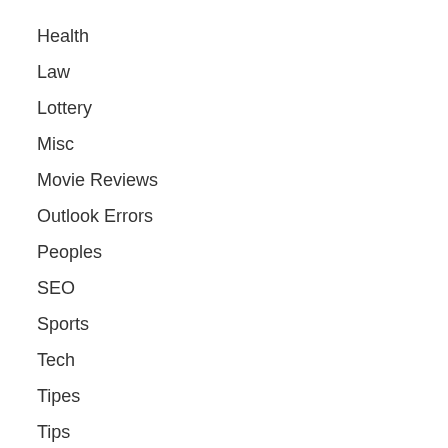Health
Law
Lottery
Misc
Movie Reviews
Outlook Errors
Peoples
SEO
Sports
Tech
Tipes
Tips
Topics